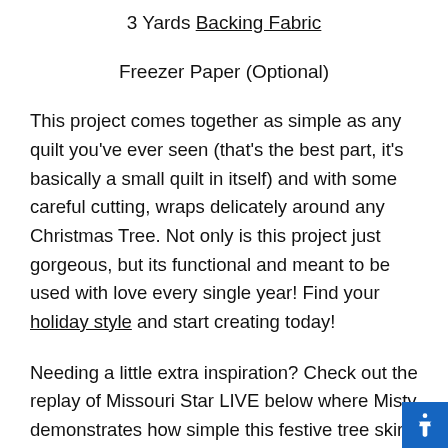3 Yards Backing Fabric
Freezer Paper (Optional)
This project comes together as simple as any quilt you've ever seen (that's the best part, it's basically a small quilt in itself) and with some careful cutting, wraps delicately around any Christmas Tree. Not only is this project just gorgeous, but its functional and meant to be used with love every single year! Find your holiday style and start creating today!
Needing a little extra inspiration? Check out the replay of Missouri Star LIVE below where Misty demonstrates how simple this festive tree skirt is to create. If you're needing a little more guidance, be sure to pick up the Christmas Tree Skirt quilt pattern to follow along with